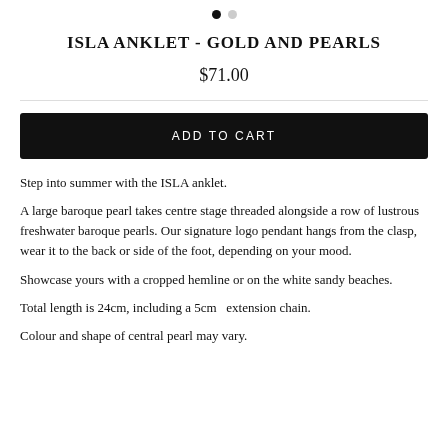[Figure (other): Pagination dots: one filled black dot and one light grey dot indicating a two-page carousel]
ISLA ANKLET - GOLD AND PEARLS
$71.00
ADD TO CART
Step into summer with the ISLA anklet.
A large baroque pearl takes centre stage threaded alongside a row of lustrous freshwater baroque pearls. Our signature logo pendant hangs from the clasp, wear it to the back or side of the foot, depending on your mood.
Showcase yours with a cropped hemline or on the white sandy beaches.
Total length is 24cm, including a 5cm  extension chain.
Colour and shape of central pearl may vary.